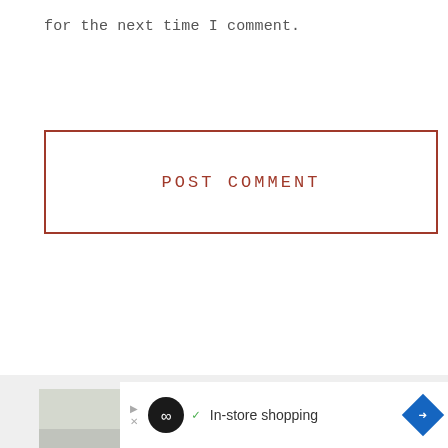for the next time I comment.
POST COMMENT
[Figure (photo): Portrait photo of a young woman with long brown hair, smiling, wearing a light blue jacket and white patterned shirt, blurred outdoor background]
In-store shopping